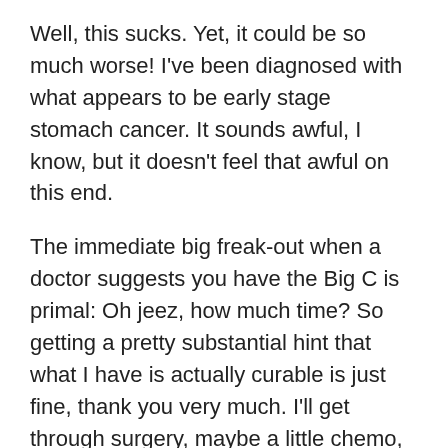Well, this sucks. Yet, it could be so much worse! I've been diagnosed with what appears to be early stage stomach cancer. It sounds awful, I know, but it doesn't feel that awful on this end.
The immediate big freak-out when a doctor suggests you have the Big C is primal: Oh jeez, how much time? So getting a pretty substantial hint that what I have is actually curable is just fine, thank you very much. I'll get through surgery, maybe a little chemo, have a real crappy 6 to 8 weeks and then get on with it.
That's the plan anyway, though no one ever knows what unintended crap lies out there. For example, my very excellent doctor suggests there is a possibility that treatment for a cancer I beat 14 years ago, may be the culprit today. I got a lot of radiation for a bout with